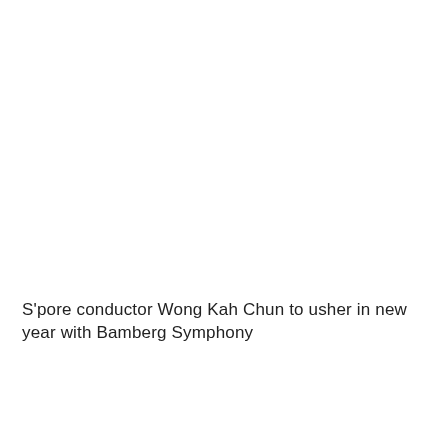S'pore conductor Wong Kah Chun to usher in new year with Bamberg Symphony